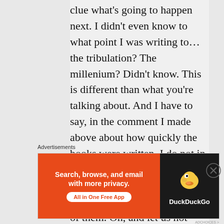clue what's going to happen next. I didn't even know to what point I was writing to…the tribulation? The millenium? Didn't know. This is different than what you're talking about. And I have to say, in the comment I made above about how quickly the books were written, I do not in any way mean that in praise or honor or glory of myself, but to God, who is the truth author of them. Oh, and let us not forget that I was quite ignorant at the time of all
Advertisements
[Figure (other): DuckDuckGo advertisement banner: orange left side with text 'Search, browse, and email with more privacy. All in One Free App' and dark right side with DuckDuckGo duck logo and brand name.]